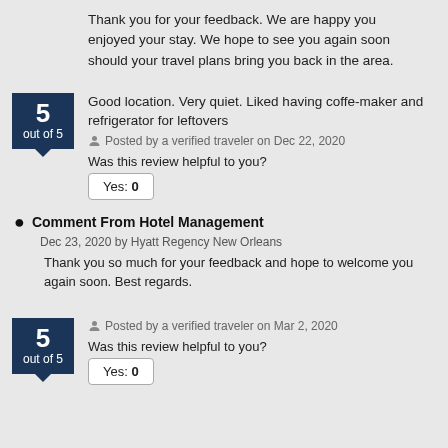Thank you for your feedback. We are happy you enjoyed your stay. We hope to see you again soon should your travel plans bring you back in the area.
Good location. Very quiet. Liked having coffe-maker and refrigerator for leftovers
Posted by a verified traveler on Dec 22, 2020
Was this review helpful to you?
Yes: 0
Comment From Hotel Management
Dec 23, 2020 by Hyatt Regency New Orleans
Thank you so much for your feedback and hope to welcome you again soon. Best regards.
Posted by a verified traveler on Mar 2, 2020
Was this review helpful to you?
Yes: 0